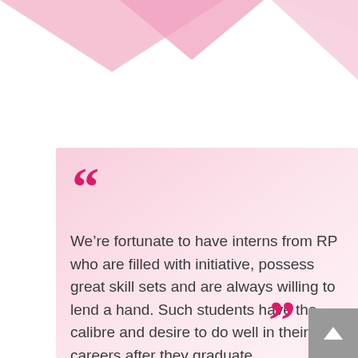[Figure (illustration): Pink triangular decorative shapes at the top of the page — two large pink triangles pointing downward on a white background]
“We’re fortunate to have interns from RP who are filled with initiative, possess great skill sets and are always willing to lend a hand. Such students have the calibre and desire to do well in their careers after they graduate.